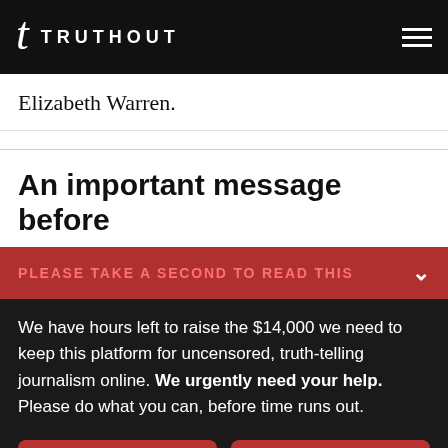TRUTHOUT
Elizabeth Warren.
An important message before
PLEASE TAKE A SECOND TO READ THIS
We have hours left to raise the $14,000 we need to keep this platform for uncensored, truth-telling journalism online. We urgently need your help. Please do what you can, before time runs out.
DONATE
DONATE MONTHLY